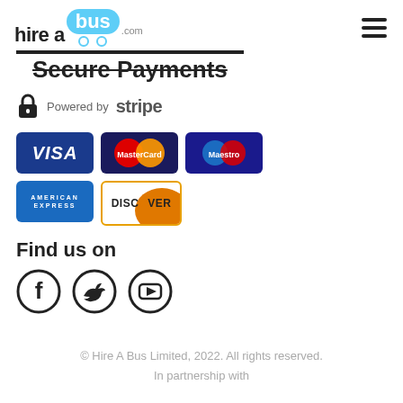[Figure (logo): hireaBus.com logo with blue bubble around 'bus']
Secure Payments
[Figure (logo): Lock icon and 'Powered by stripe' text]
[Figure (infographic): Payment card logos: VISA, MasterCard, Maestro, American Express, Discover]
Find us on
[Figure (infographic): Social media icons: Facebook, Twitter, YouTube]
© Hire A Bus Limited, 2022. All rights reserved.
In partnership with